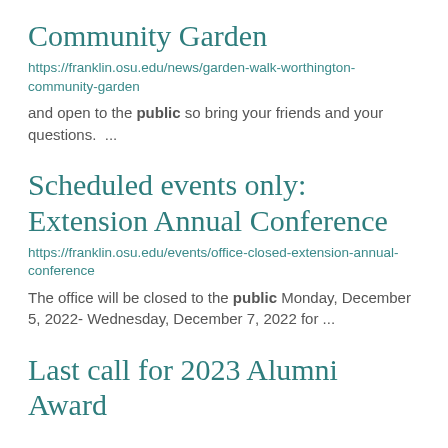Community Garden
https://franklin.osu.edu/news/garden-walk-worthington-community-garden
and open to the public so bring your friends and your questions.  ...
Scheduled events only: Extension Annual Conference
https://franklin.osu.edu/events/office-closed-extension-annual-conference
The office will be closed to the public Monday, December 5, 2022- Wednesday, December 7, 2022 for ...
Last call for 2023 Alumni Award